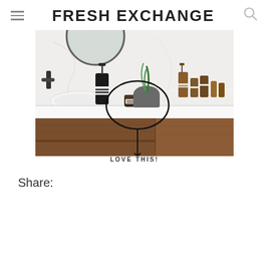FRESH EXCHANGE
[Figure (photo): Bathroom vanity with marble wall, round mirror, wooden cabinet drawers, Aesop products on counter, plant in pot. A black circle annotation highlights a small jar with 'LOVE THIS!' label pointing to it below the image.]
LOVE THIS!
Share: